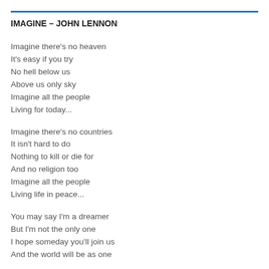IMAGINE – JOHN LENNON
Imagine there's no heaven
It's easy if you try
No hell below us
Above us only sky
Imagine all the people
Living for today...
Imagine there's no countries
It isn't hard to do
Nothing to kill or die for
And no religion too
Imagine all the people
Living life in peace...
You may say I'm a dreamer
But I'm not the only one
I hope someday you'll join us
And the world will be as one
Imagine no possessions
I wonder if you can
No need for greed or hunger